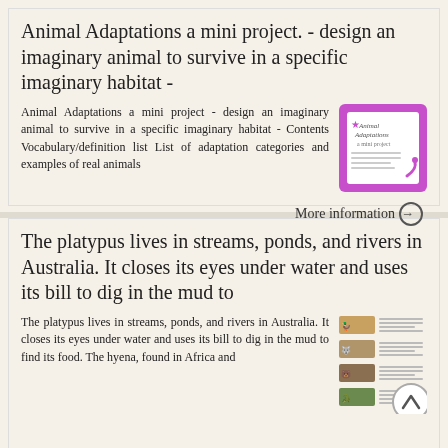Animal Adaptations a mini project. - design an imaginary animal to survive in a specific imaginary habitat -
Animal Adaptations a mini project - design an imaginary animal to survive in a specific imaginary habitat - Contents Vocabulary/definition list List of adaptation categories and examples of real animals
[Figure (illustration): Thumbnail image of Animal Adaptations mini project cover with purple wavy border]
More information →
The platypus lives in streams, ponds, and rivers in Australia. It closes its eyes under water and uses its bill to dig in the mud to
The platypus lives in streams, ponds, and rivers in Australia. It closes its eyes under water and uses its bill to dig in the mud to find its food. The hyena, found in Africa and
[Figure (illustration): Thumbnail images of animals (platypus, hyena, bear, crocodile) with text beside them, and a scroll-up circle button overlay]